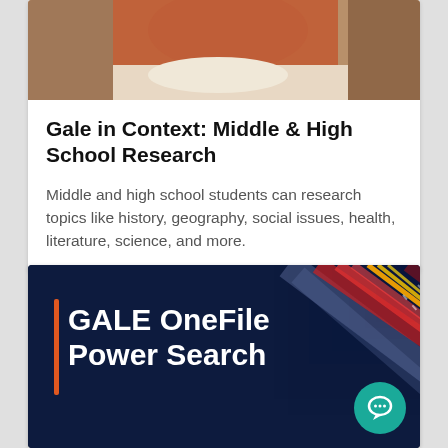[Figure (photo): Student in orange/red sweater studying or writing, viewed from above/side, partial crop at top of card]
Gale in Context: Middle & High School Research
Middle and high school students can research topics like history, geography, social issues, health, literature, science, and more.
[Figure (illustration): GALE OneFile Power Search promotional banner with dark navy background, colorful streaks of light (red, orange, yellow) on right side, orange vertical bar accent on left, white bold text reading 'GALE OneFile Power Search', and a teal chat bubble icon in bottom right corner]